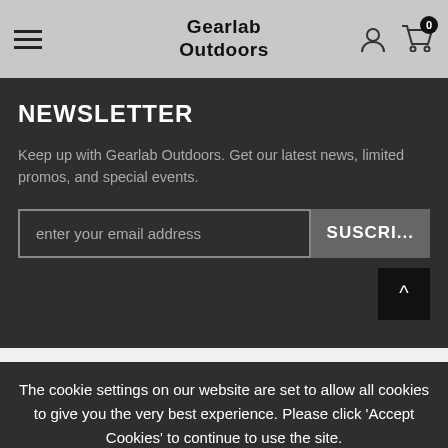Gearlab Outdoors
NEWSLETTER
Keep up with Gearlab Outdoors. Get our latest news, limited promos, and special events.
The cookie settings on our website are set to allow all cookies to give you the very best experience. Please click 'Accept Cookies' to continue to use the site.
PRIVACY POLICY   ACCEPT ✔